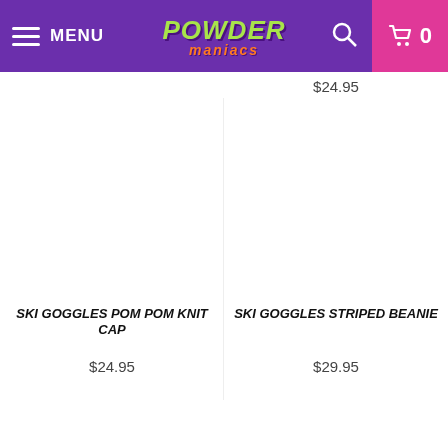MENU | POWDER MANIACS | 0
$24.95
SKI GOGGLES POM POM KNIT CAP
$24.95
SKI GOGGLES STRIPED BEANIE
$29.95